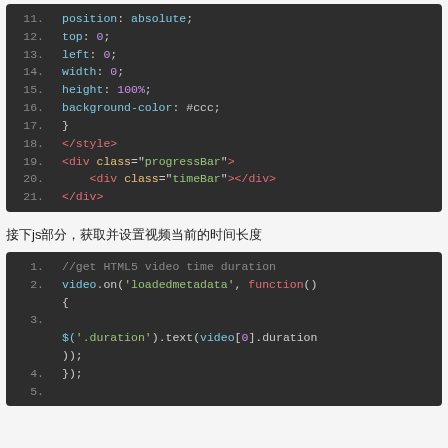[Figure (screenshot): Code editor screenshot showing CSS lines 11-21 with syntax highlighting on dark background. Lines show: position: absolute; top: 0; left: 0; width: 0; height: 100%; background-color: #ccc; } </style> <div class="progressBar"> <div class="timeBar"></div> </div>]
接下js部分，获取并设置视频当前的时间长度
[Figure (screenshot): Code editor screenshot showing JavaScript lines 1-5 with syntax highlighting on dark background. Lines show: //get HTML5 video time duration; video.on('loadedmetadata', function() {; (blank line 3); $('.duration').text(video[0].duration));; });]